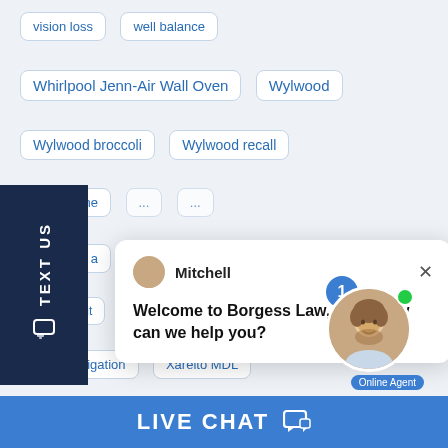vision loss
well balance
Whirlpool Jenn-Air Wall Oven
Wylwood
Wylwood broccoli
Wylwood recall
elto attorne
elto class a
elto lawsuit
xarelto lawsuits
Xarelto lawyer
Xarelto litigation
Xarelto MDL
xarelto multidistrict litigation
xarelto trial
[Figure (screenshot): Live chat popup from Borgess Law LLC with agent Mitchell saying 'Welcome to Borgess Law, LLC! How can we help you?' and an online agent photo with notification badge]
TEXT US
LIVE CHAT